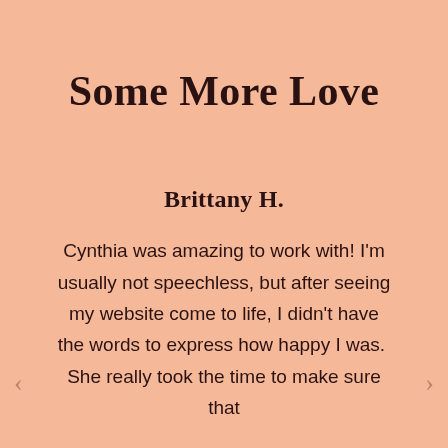Some More Love
Brittany H.
Cynthia was amazing to work with! I'm usually not speechless, but after seeing my website come to life, I didn't have the words to express how happy I was.  She really took the time to make sure that